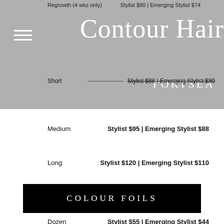Regrowth (4 wks only)    Stylist $80 | Emerging Stylist $74
[Figure (logo): Contour Hair Portsea logo on grey banner background]
Short    Stylist $88 | Emerging Stylist $80
Medium    Stylist $95 | Emerging Stylist $88
Long    Stylist $120 | Emerging Stylist $110
COLOUR FOILS
Dozen    Stylist $55 | Emerging Stylist $44